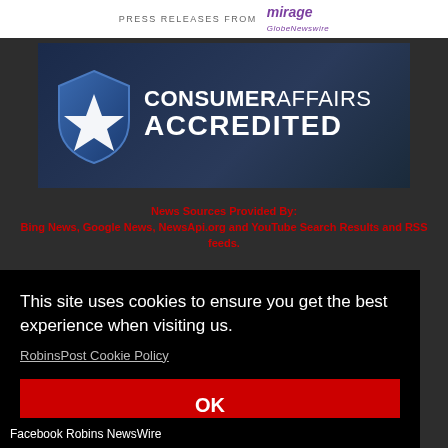[Figure (logo): Press Releases From and Mirage GlobeNewswire header banner on white background]
[Figure (logo): ConsumerAffairs Accredited badge on dark blue gradient background with shield icon]
News Sources Provided By:
Bing News, Google News, NewsApi.org and YouTube Search Results and RSS feeds.
This site uses cookies to ensure you get the best experience when visiting us.
RobinsPost Cookie Policy
OK
Facebook Robins NewsWire